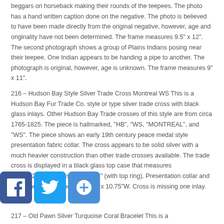beggars on horseback making their rounds of the teepees. The photo has a hand written caption done on the negative. The photo is believed to have been made directly from the original negative, however, age and originality have not been determined. The frame measures 9.5" x 12". The second photograph shows a group of Plains Indians posing near their teepee. One Indian appears to be handing a pipe to another. The photograph is original, however, age is unknown. The frame measures 9" x 11".
216 – Hudson Bay Style Silver Trade Cross Montreal WS This is a Hudson Bay Fur Trade Co. style or type silver trade cross with black glass inlays. Other Hudson Bay Trade crosses of this style are from circa 1765-1825. The piece is hallmarked, "HB", "WS, "MONTREAL", and "WS". The piece shows an early 19th century peace medal style presentation fabric collar. The cross appears to be solid silver with a much heavier construction than other trade crosses available. The trade cross is displayed in a black glass top case that measures 14.25"x20.25". Cross is 6.5"x4.5" (with top ring). Presentation collar and cross measure as they lay 19"H x 10.75"W. Cross is missing one inlay.
[Figure (other): Social media share buttons: Facebook (blue), Twitter (light blue), Share/Add (blue with plus icon)]
217 – Old Pawn Silver Turquoise Coral Bracelet This is a